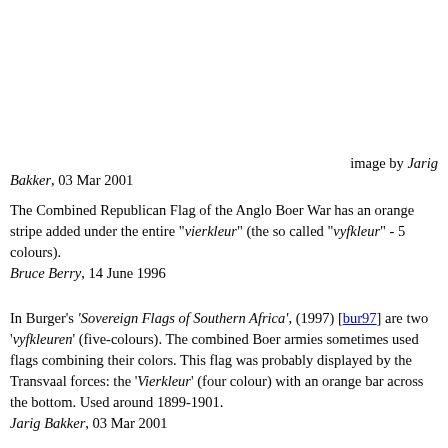image by Jarig Bakker, 03 Mar 2001
The Combined Republican Flag of the Anglo Boer War has an orange stripe added under the entire "vierkleur" (the so called "vyfkleur" - 5 colours).
Bruce Berry, 14 June 1996
In Burger's 'Sovereign Flags of Southern Africa', (1997) [bur97] are two 'vyfkleuren' (five-colours). The combined Boer armies sometimes used flags combining their colors. This flag was probably displayed by the Transvaal forces: the 'Vierkleur' (four colour) with an orange bar across the bottom. Used around 1899-1901.
Jarig Bakker, 03 Mar 2001